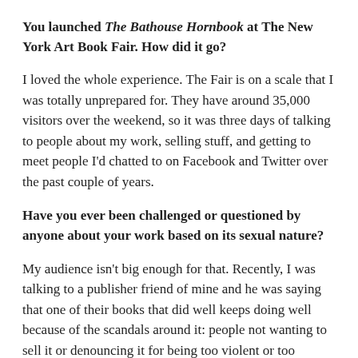You launched The Bathouse Hornbook at The New York Art Book Fair. How did it go?
I loved the whole experience. The Fair is on a scale that I was totally unprepared for. They have around 35,000 visitors over the weekend, so it was three days of talking to people about my work, selling stuff, and getting to meet people I'd chatted to on Facebook and Twitter over the past couple of years.
Have you ever been challenged or questioned by anyone about your work based on its sexual nature?
My audience isn't big enough for that. Recently, I was talking to a publisher friend of mine and he was saying that one of their books that did well keeps doing well because of the scandals around it: people not wanting to sell it or denouncing it for being too violent or too sexual.